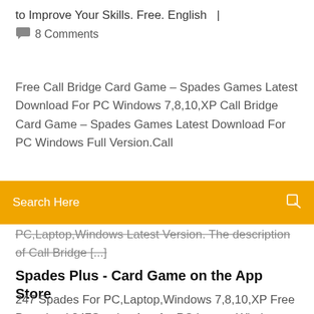to Improve Your Skills. Free. English  |
💬  8 Comments
Free Call Bridge Card Game – Spades Games Latest Download For PC Windows 7,8,10,XP Call Bridge Card Game – Spades Games Latest Download For PC Windows Full Version.Call
[Figure (screenshot): Orange search bar with text 'Search Here' and a search icon on the right]
PC,Laptop,Windows Latest Version. The description of Call Bridge [...]
Spades Plus - Card Game on the App Store
247 Spades For PC,Laptop,Windows 7,8,10,XP Free Download.247Spades App for PC,Laptop,Windows Full Version.247 Spades Download for PC,Laptop,Windows.. The description of 247 Spades. Spades is a casual card game developed in the 1930's in the USA. Spades is played with a basic set of 52 cards and card value ranks from 2, the lowest,